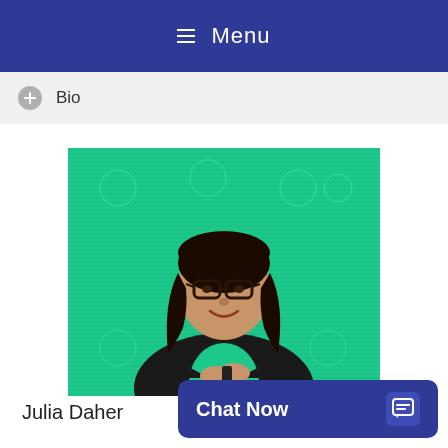≡ Menu
Bio
[Figure (photo): A woman with dark hair and glasses wearing a black blazer over a green/teal top, smiling, standing in front of a bright green background.]
Julia Daher
Chat Now